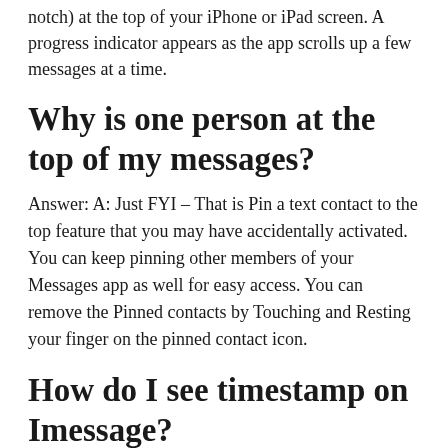notch) at the top of your iPhone or iPad screen. A progress indicator appears as the app scrolls up a few messages at a time.
Why is one person at the top of my messages?
Answer: A: Just FYI – That is Pin a text contact to the top feature that you may have accidentally activated. You can keep pinning other members of your Messages app as well for easy access. You can remove the Pinned contacts by Touching and Resting your finger on the pinned contact icon.
How do I see timestamp on Imessage?
View a Timestamp